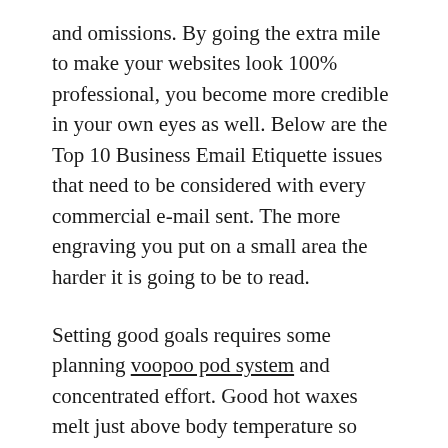and omissions. By going the extra mile to make your websites look 100% professional, you become more credible in your own eyes as well. Below are the Top 10 Business Email Etiquette issues that need to be considered with every commercial e-mail sent. The more engraving you put on a small area the harder it is going to be to read.
Setting good goals requires some planning voopoo pod system and concentrated effort. Good hot waxes melt just above body temperature so they can be easily spread thinly over the skin. The secret of a diamond that is properly cut is that it returns a measurably greater amount of light, which is displayed as brilliance, dispersion and scintillation. Yes there were times, I'm sure they knew, when they bit off more than they could chew, but through it all when there was doubt – they ate it up – and spit it out – the records show – they took the blows – and